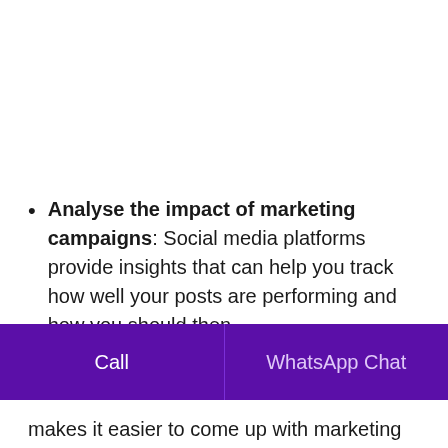Analyse the impact of marketing campaigns: Social media platforms provide insights that can help you track how well your posts are performing and how you should then makes it easier to come up with marketing
Call
WhatsApp Chat
makes it easier to come up with marketing